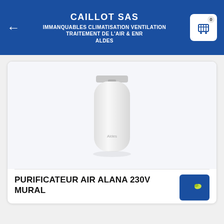CAILLOT SAS
IMMANQUABLES CLIMATISATION VENTILATION TRAITEMENT DE L'AIR & ENR ALDES
[Figure (photo): White wall-mounted air purifier unit (Aldes brand) photographed against a light grey/white background. The device is a tall cylindrical white unit with a grey top panel.]
PURIFICATEUR AIR ALANA 230V MURAL